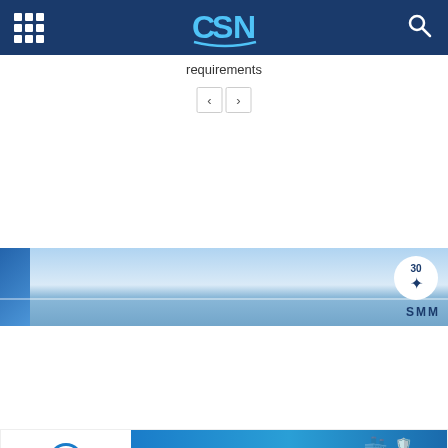CSN navigation bar with grid menu icon, CSN logo, and search icon
requirements
[Figure (screenshot): Navigation previous/next arrow buttons]
[Figure (illustration): SMM 30th anniversary maritime banner with ocean/sky background and compass badge]
[Figure (illustration): Maritime Cyprus – Let Excellence Navigate you banner with ship and Cyprus shield logo]
[Figure (illustration): BSM Know Your Fleet's Emissions banner with tablet showing charts and Learn More button]
[Figure (illustration): Michael Kyprianou Advocates & Legal Consultants – Your Partner of Choice banner with orange border]